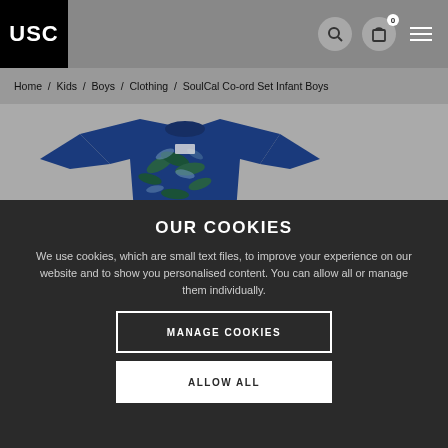USC
Home / Kids / Boys / Clothing / SoulCal Co-ord Set Infant Boys
[Figure (photo): Blue tropical leaf print infant boys t-shirt/top displayed on grey background]
OUR COOKIES
We use cookies, which are small text files, to improve your experience on our website and to show you personalised content. You can allow all or manage them individually.
MANAGE COOKIES
ALLOW ALL